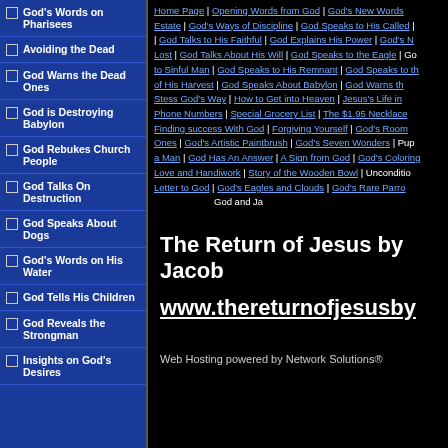God's Words on Pharisees
Avoiding the Dead
God Warns the Dead Ones
God is Destroying Babylon
God Rebukes Church People
God Talks On Destruction
God Speaks About Dogs
God's Words on His Water
God Tells His Children
God Reveals the Strongman
Insights on God's Desires
Home Page | Opening Words from God | God's New Words Estate | God's Ways of Discipline | God Speaks to His Called | God Talks to His Faithful | God Explains His Power | God's N Lost | God Talks About His Will | God Speaks to the Eagle | Go to Sinful Man | God Speaks to His Remnant | God Speaks to th of His Harvest | God Speaks About Babylon | God Warns th Stess God's Way | How to Get into Heaven | Jesus's Life in Phone Numbers | Special Grocery List | The $1.95 Necklac Finding success With God | Forgiving Yourself | God's Room Ones | God's Artistic Paintbrush | God's Seven Wonders | Pup a Man | God Has An Answer | A Sign from God | God's Coloring Love and Handiwork | Story of the Wooden Bowl | Unconditio Letter to God | God's Eagles and Clouds | God's Rare Parro God and Ja
The Return of Jesus by Jacob
www.thereturnofjesusby
Web Hosting powered by Network Solutions®